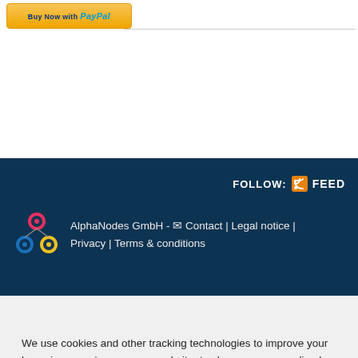[Figure (logo): PayPal 'Buy Now' button with yellow/gold gradient background]
FOLLOW:  FEED
AlphaNodes GmbH - Contact | Legal notice | Privacy | Terms & conditions
We use cookies
We use cookies and other tracking technologies to improve your browsing experience on our website, to show you personalized content and targeted ads, to analyze our website traffic, and